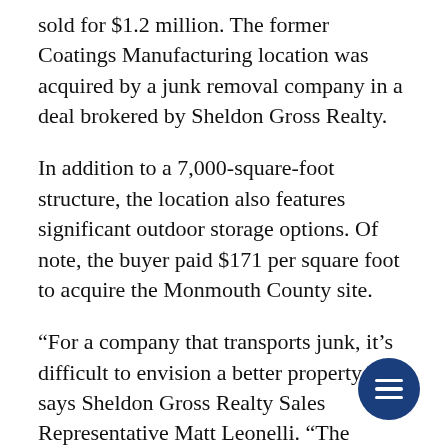sold for $1.2 million. The former Coatings Manufacturing location was acquired by a junk removal company in a deal brokered by Sheldon Gross Realty.
In addition to a 7,000-square-foot structure, the location also features significant outdoor storage options. Of note, the buyer paid $171 per square foot to acquire the Monmouth County site.
“For a company that transports junk, it’s difficult to envision a better property,” says Sheldon Gross Realty Sales Representative Matt Leonelli. “The building is an ideal fit, and the lot is large enough to easily accommodate significant on-site storage. Plus, the Monmouth County address provides quick access to every part of New Jersey, as well as to New York and Philadelphia.”
Immediately adjacent to Route 195 and Route 9,